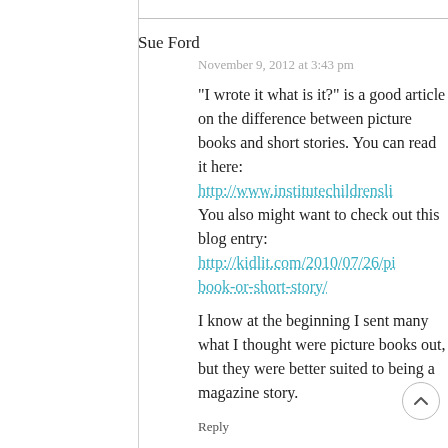Sue Ford
November 9, 2012 at 3:43 pm
"I wrote it what is it?" is a good article on the difference between picture books and short stories. You can read it here: http://www.institutechildrensli You also might want to check out this blog entry: http://kidlit.com/2010/07/26/pi book-or-short-story/
I know at the beginning I sent many what I thought were picture books out, but they were better suited to being a magazine story.
Reply